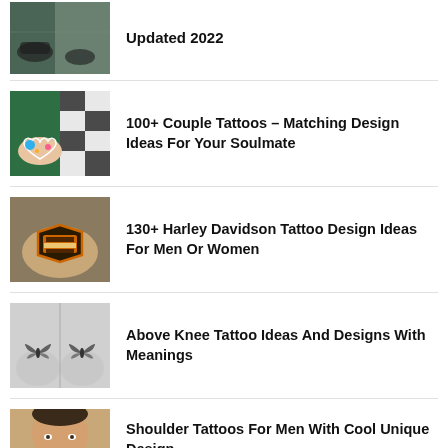[Figure (photo): Person getting a tattoo at a tattoo parlor, partial view, truncated at top]
Updated 2022
[Figure (photo): Two arms with matching colorful couple tattoos including a heart design]
100+ Couple Tattoos – Matching Design Ideas For Your Soulmate
[Figure (photo): Harley Davidson logo tattoo on an arm/leg]
130+ Harley Davidson Tattoo Design Ideas For Men Or Women
[Figure (photo): Two knees with moth/butterfly tattoo designs above the knee]
Above Knee Tattoo Ideas And Designs With Meanings
[Figure (photo): Man's shoulder/face partial view, truncated]
Shoulder Tattoos For Men With Cool Unique Design...